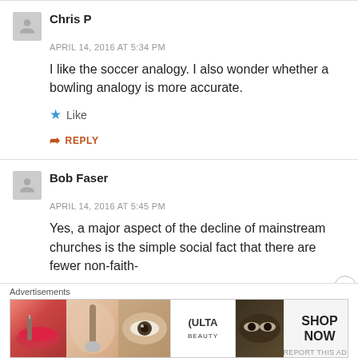Chris P
APRIL 14, 2016 AT 5:34 PM
I like the soccer analogy. I also wonder whether a bowling analogy is more accurate.
Like
REPLY
Bob Faser
APRIL 14, 2016 AT 5:45 PM
Yes, a major aspect of the decline of mainstream churches is the simple social fact that there are fewer non-faith-
Advertisements